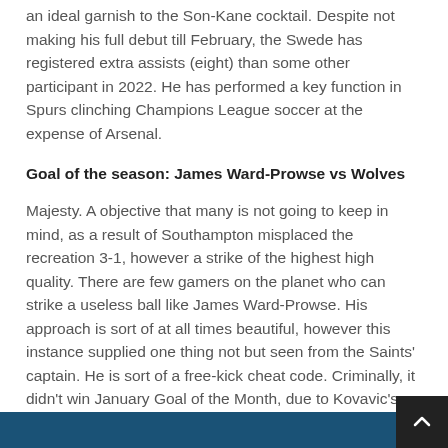an ideal garnish to the Son-Kane cocktail. Despite not making his full debut till February, the Swede has registered extra assists (eight) than some other participant in 2022. He has performed a key function in Spurs clinching Champions League soccer at the expense of Arsenal.
Goal of the season: James Ward-Prowse vs Wolves
Majesty. A objective that many is not going to keep in mind, as a result of Southampton misplaced the recreation 3-1, however a strike of the highest high quality. There are few gamers on the planet who can strike a useless ball like James Ward-Prowse. His approach is sort of at all times beautiful, however this instance supplied one thing not but seen from the Saints' captain. He is sort of a free-kick cheat code. Criminally, it didn't win January Goal of the Month, due to Kovavic's strike towards Liverpool – I suppose that's not a foul objective to lose out to.
Please use Chrome browser for a extra accessible video participant